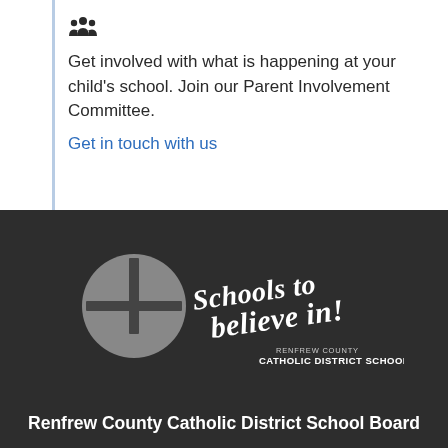[Figure (infographic): People/group icon (silhouette of multiple people) in dark color, indicating community involvement]
Get involved with what is happening at your child's school. Join our Parent Involvement Committee.
Get in touch with us
[Figure (logo): Renfrew County Catholic District School Board logo: grey circle with cross symbol on the left, and cursive white text 'Schools to believe in!' on the right, with 'RENFREW COUNTY CATHOLIC DISTRICT SCHOOL BOARD' in smaller text below the cursive text.]
Renfrew County Catholic District School Board